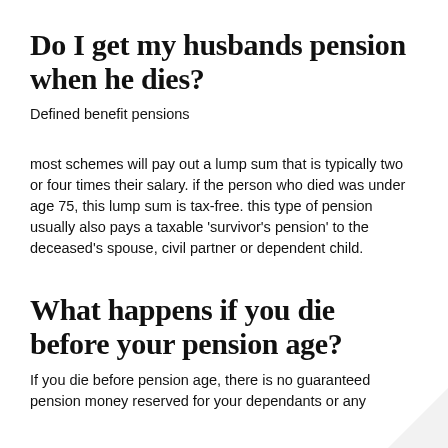Do I get my husbands pension when he dies?
Defined benefit pensions
most schemes will pay out a lump sum that is typically two or four times their salary. if the person who died was under age 75, this lump sum is tax-free. this type of pension usually also pays a taxable ‘survivor’s pension’ to the deceased’s spouse, civil partner or dependent child.
What happens if you die before your pension age?
If you die before pension age, there is no guaranteed pension money reserved for your dependants or any